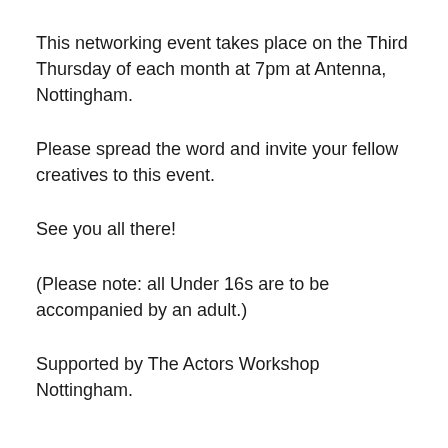This networking event takes place on the Third Thursday of each month at 7pm at Antenna, Nottingham.
Please spread the word and invite your fellow creatives to this event.
See you all there!
(Please note: all Under 16s are to be accompanied by an adult.)
Supported by The Actors Workshop Nottingham.